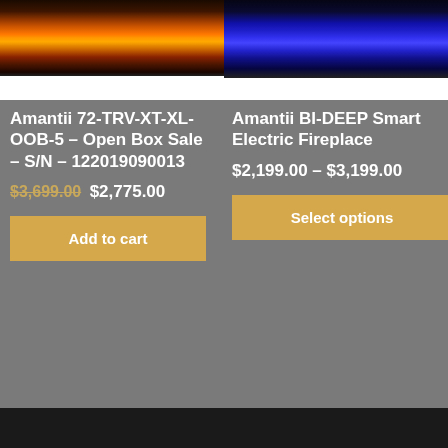[Figure (photo): Electric fireplace with orange and red flame effect, shown in product listing]
Amantii 72-TRV-XT-XL-OOB-5 – Open Box Sale – S/N – 122019090013
$3,699.00 $2,775.00
Add to cart
[Figure (photo): Electric fireplace with blue flame effect, shown in product listing]
Amantii BI-DEEP Smart Electric Fireplace
$2,199.00 – $3,199.00
Select options